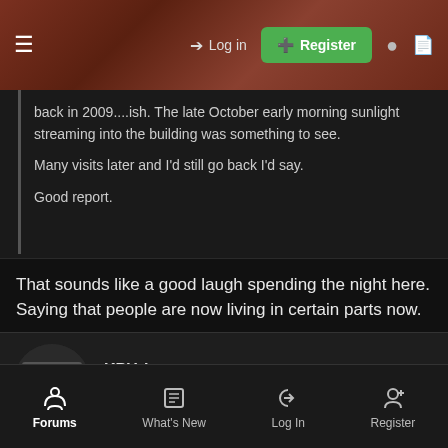Log in | Register
back in 2009....ish. The late October early morning sunlight streaming into the building was something to see.

Many visits later and I'd still go back I'd say.

Good report.
That sounds like a good laugh spending the night here. Saying that people are now living in certain parts now.
KPUrban_
Surprisingly Unsurprising | Regular User
Oct 29, 2020  #10
Forums | What's New | Log In | Register